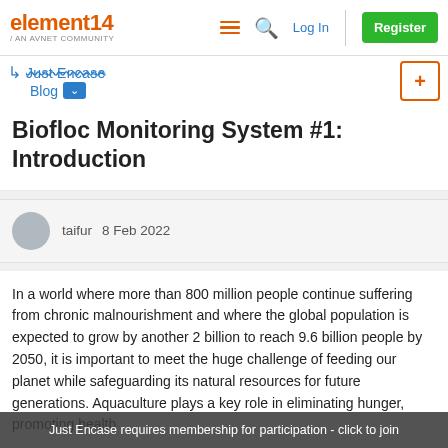element14 / AN AVNET COMMUNITY — Log In — Register
Just Encase
Blog
Biofloc Monitoring System #1: Introduction
taifur   8 Feb 2022
In a world where more than 800 million people continue suffering from chronic malnourishment and where the global population is expected to grow by another 2 billion to reach 9.6 billion people by 2050, it is important to meet the huge challenge of feeding our planet while safeguarding its natural resources for future generations. Aquaculture plays a key role in eliminating hunger, promoting health
Just Encase requires membership for participation - click to join